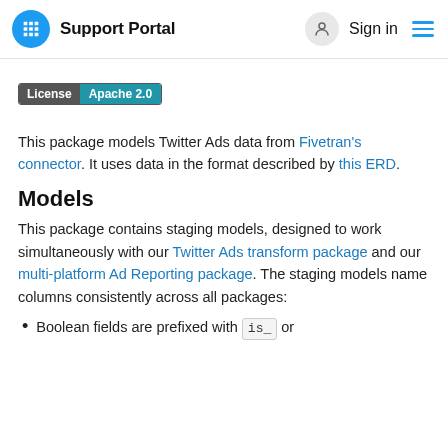Support Portal  Sign in
[Figure (infographic): License badge showing 'License Apache 2.0']
This package models Twitter Ads data from Fivetran's connector. It uses data in the format described by this ERD.
Models
This package contains staging models, designed to work simultaneously with our Twitter Ads transform package and our multi-platform Ad Reporting package. The staging models name columns consistently across all packages:
Boolean fields are prefixed with is_ or